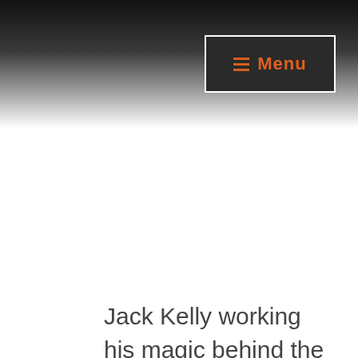[Figure (screenshot): Dark gradient header background fading from black at top to white at bottom]
☰ Menu
Jack Kelly working his magic behind the scenes